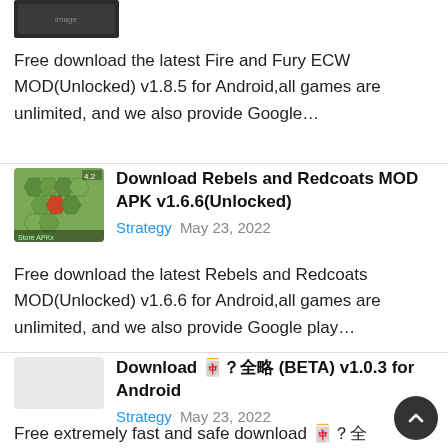[Figure (screenshot): Small dark thumbnail image at top left, partially visible]
Free download the latest Fire and Fury ECW MOD(Unlocked) v1.8.5 for Android,all games are unlimited, and we also provide Google…
[Figure (screenshot): Game thumbnail showing a strategy board game map with hexagonal tiles, green terrain, and military units]
Download Rebels and Redcoats MOD APK v1.6.6(Unlocked)
Strategy   May 23, 2022
Free download the latest Rebels and Redcoats MOD(Unlocked) v1.6.6 for Android,all games are unlimited, and we also provide Google play…
Download 전략게임 (BETA) v1.0.3 for Android
Strategy   May 23, 2022
Free extremely fast and safe download 전략게임 (BETA) v1.0.3 mod apk, you can also support the original version, use the